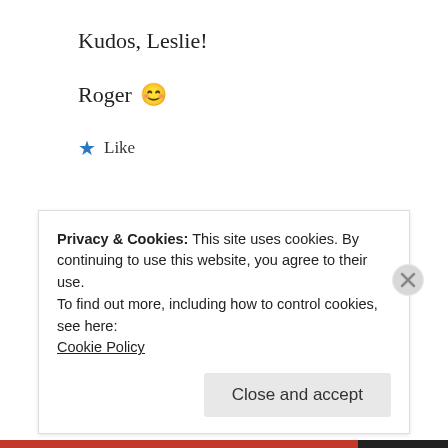Kudos, Leslie!
Roger 😊
★ Like
Reply
[Figure (illustration): Decorative avatar icon for commenter Takeo - blue geometric circular pattern]
Takeo
February 13, 2014 at 6:51 pm
Privacy & Cookies: This site uses cookies. By continuing to use this website, you agree to their use.
To find out more, including how to control cookies, see here:
Cookie Policy
Close and accept